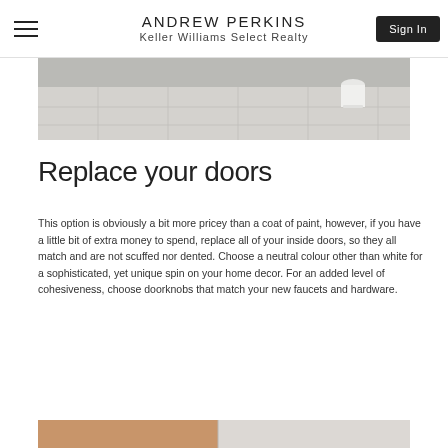ANDREW PERKINS
Keller Williams Select Realty
[Figure (photo): Top portion of a room interior showing a tiled floor with light grey/beige tiles and what appears to be a white cylindrical object in the background near a window or door]
Replace your doors
This option is obviously a bit more pricey than a coat of paint, however, if you have a little bit of extra money to spend, replace all of your inside doors, so they all match and are not scuffed nor dented. Choose a neutral colour other than white for a sophisticated, yet unique spin on your home decor. For an added level of cohesiveness, choose doorknobs that match your new faucets and hardware.
[Figure (photo): Bottom portion showing the beginning of another image, appears to be a door or wooden surface with light background]